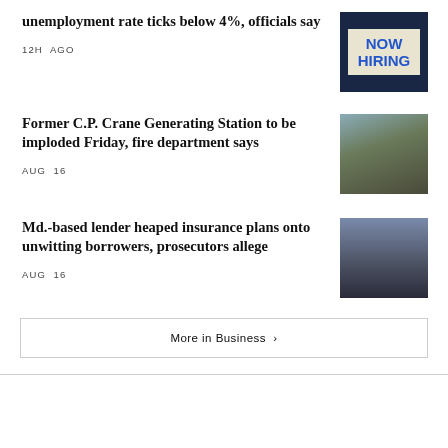unemployment rate ticks below 4%, officials say
12H AGO
[Figure (photo): NOW HIRING sign on a dark background]
Former C.P. Crane Generating Station to be imploded Friday, fire department says
AUG 16
[Figure (photo): Industrial building with scaffolding and smoke]
Md.-based lender heaped insurance plans onto unwitting borrowers, prosecutors allege
AUG 16
[Figure (photo): Mariner Finance storefront exterior]
More in Business ›